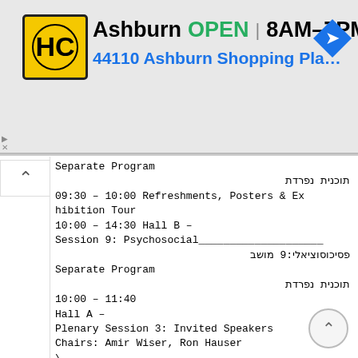[Figure (screenshot): Advertisement banner for HC (Home Care or similar) business in Ashburn. Shows yellow/black logo, business name, OPEN status, hours 8AM-7PM, address 44110 Ashburn Shopping Plaza 1., and a blue navigation arrow icon.]
Separate Program
תוכנית נפרדת
09:30 – 10:00 Refreshments, Posters & Exhibition Tour
10:00 – 14:30 Hall B – Session 9: Psychosocial____________________
פסיכוסוציאלי:9 מושב
Separate Program
תוכנית נפרדת
10:00 – 11:40
Hall A –
Plenary Session 3: Invited Speakers
Chairs: Amir Wiser, Ron Hauser
\
10:00 – 10:50 Lessons Learned From ART Reporting in USA
Dr. Valerie Baker
Chief, Division of Reproductive Endocrinology and Infertility Department of Obstetrics and Gynecology, Stanford Univo